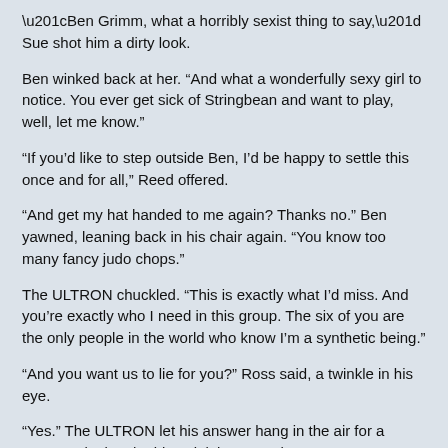“Ben Grimm, what a horribly sexist thing to say,” Sue shot him a dirty look.
Ben winked back at her. “And what a wonderfully sexy girl to notice. You ever get sick of Stringbean and want to play, well, let me know.”
“If you’d like to step outside Ben, I’d be happy to settle this once and for all,” Reed offered.
“And get my hat handed to me again? Thanks no.” Ben yawned, leaning back in his chair again. “You know too many fancy judo chops.”
The ULTRON chuckled. “This is exactly what I’d miss. And you’re exactly who I need in this group. The six of you are the only people in the world who know I’m a synthetic being.”
“And you want us to lie for you?” Ross said, a twinkle in his eye.
“Yes.” The ULTRON let his answer hang in the air for a moment, letting the idea sink in. “Now that Vernon Van Dyne is legally dead it is only a matter of time before his will goes into effect. When that happens Dr. Pym will own half of my synthetic brain, the other half will go into the stewardship of Obadiah Stane or Sebastian Shaw, until Janet Van Dyne is 25 years old.”
“And legally, what happens to you?” Ross asked.